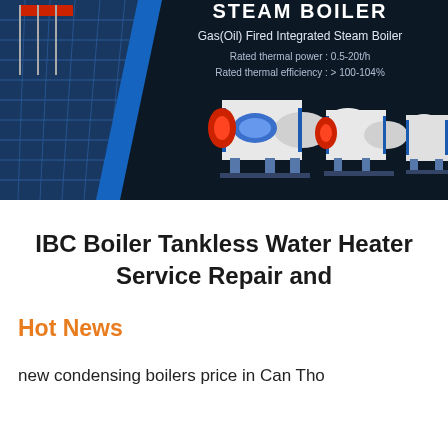[Figure (photo): Banner image showing industrial steam boilers against a dark navy background with a building and flag poles on the left. Text overlay reads 'STEAM BOILER - Gas(Oil) Fired Integrated Steam Boiler' with specs. Three white cylindrical steam boilers shown.]
IBC Boiler Tankless Water Heater Service Repair and
Hot News
new condensing boilers price in Can Tho